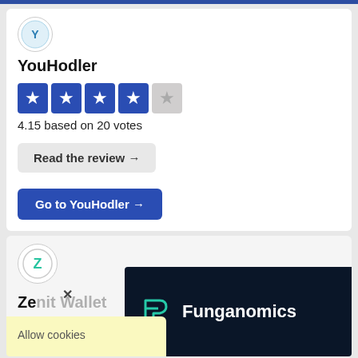[Figure (logo): YouHodler circular logo icon]
YouHodler
[Figure (other): 4-star rating display: 4 filled blue stars and 1 half/empty grey star]
4.15 based on 20 votes
Read the review →
Go to YouHodler →
[Figure (logo): Zeal Wallet circular logo icon with Z letter and X mark overlay]
Ze...
[Figure (screenshot): Dark overlay showing Funganomics logo and text on dark navy background]
Allow cookies